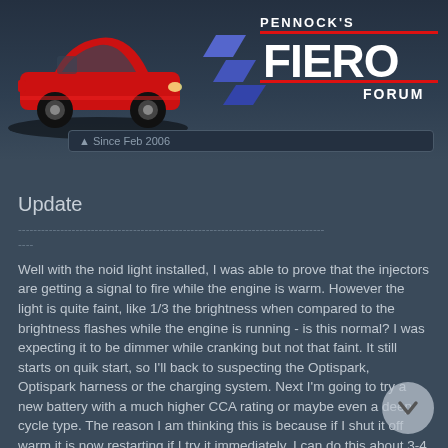Pennock's Fiero Forum — Member since Feb 2006
Update
--------------------------------------------------------------------------------
----
Well with the noid light installed, I was able to prove that the injectors are getting a signal to fire while the engine is warm. However the light is quite faint, like 1/3 the brightness when compared to the brightness flashes while the engine is running - is this normal? I was expecting it to be dimmer while cranking but not that faint. It still starts on quik start, so I'll back to suspecting the Optispark, Optispark harness or the charging system. Next I'm going to try a new battery with a much higher CCA rating or maybe even a deep cycle type. The reason I am thinking this is because if I shut it off warm it is now restarting if I try it immediately. I can do this about 3-4 times in a row before it goes back to a no start condition. After the next 3-4 tries with no success, the cranking speed drops dramatically. Keep in mind that I still don't believe it's a heat soaked starter as mine isn't in the stock location and it's air cooled on both sides.